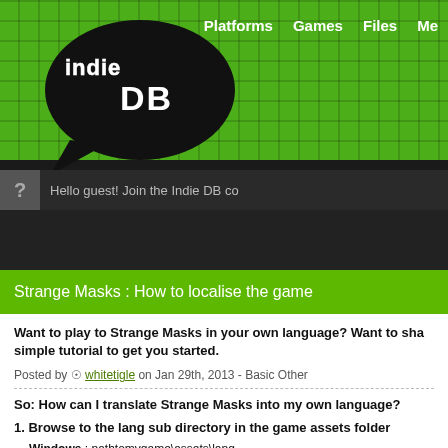Indie DB — Platforms  Games  Files  Me
[Figure (logo): Indie DB logo — stylized white text on black speech bubble shape with green background]
Hello guest! Join the Indie DB co
Strange Masks : How to localise the game
Want to play to Strange Masks in your own language? Want to sha simple tutorial to get you started.
Posted by whitetigle on Jan 29th, 2013 - Basic Other
So: How can I translate Strange Masks into my own language?
1. Browse to the lang sub directory in the game assets folder
Windows : pathtomygame\assets\lang
Mac : on mac, you can open the strange masks application like a folder b compressed folder. So browse to /pathtomygame/strangemasks/strangemasks.app/Contents/Resources/as
Linux : pathtomygame/assets/lang
2. copy the en.lang file to yourlanguageISOcode.lang